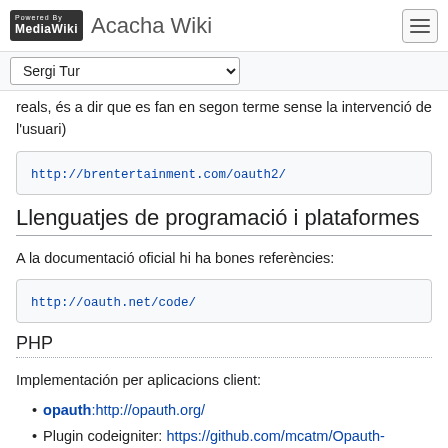Acacha Wiki
reals, és a dir que es fan en segon terme sense la intervenció de l'usuari)
http://brentertainment.com/oauth2/
Llenguatjes de programació i plataformes
A la documentació oficial hi ha bones referències:
http://oauth.net/code/
PHP
Implementación per aplicacions client:
opauth:http://opauth.org/
Plugin codeigniter: https://github.com/mcatm/Opauth-